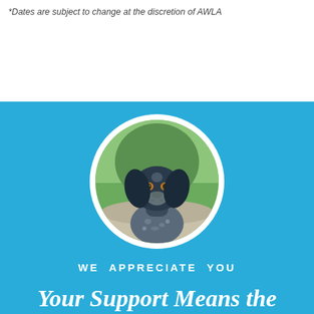*Dates are subject to change at the discretion of AWLA
[Figure (photo): Circular photo of a German Shorthaired Pointer dog with dark coat and blue collar, on a blue background]
WE APPRECIATE YOU
Your Support Means the